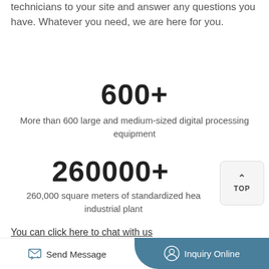technicians to your site and answer any questions you have. Whatever you need, we are here for you.
600+
More than 600 large and medium-sized digital processing equipment
260000+
260,000 square meters of standardized heavy industrial plant
You can click here to chat with us
Product Name*
Send Message
Inquiry Online